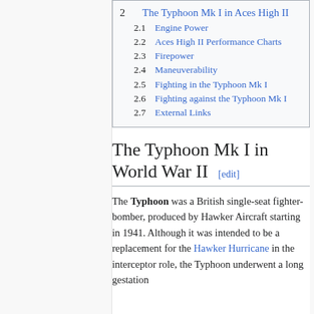2  The Typhoon Mk I in Aces High II
2.1  Engine Power
2.2  Aces High II Performance Charts
2.3  Firepower
2.4  Maneuverability
2.5  Fighting in the Typhoon Mk I
2.6  Fighting against the Typhoon Mk I
2.7  External Links
The Typhoon Mk I in World War II [edit]
The Typhoon was a British single-seat fighter-bomber, produced by Hawker Aircraft starting in 1941. Although it was intended to be a replacement for the Hawker Hurricane in the interceptor role, the Typhoon underwent a long gestation